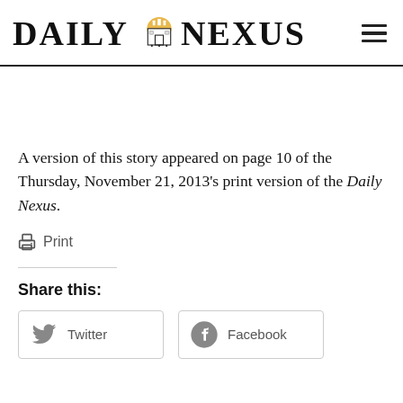DAILY NEXUS
A version of this story appeared on page 10 of the Thursday, November 21, 2013's print version of the Daily Nexus.
Print
Share this:
Twitter
Facebook